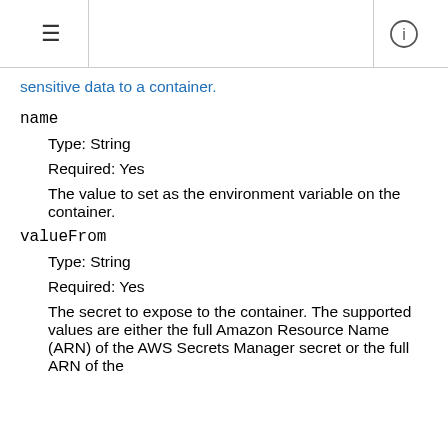☰  ⓘ
sensitive data to a container.
name
Type: String
Required: Yes
The value to set as the environment variable on the container.
valueFrom
Type: String
Required: Yes
The secret to expose to the container. The supported values are either the full Amazon Resource Name (ARN) of the AWS Secrets Manager secret or the full ARN of the